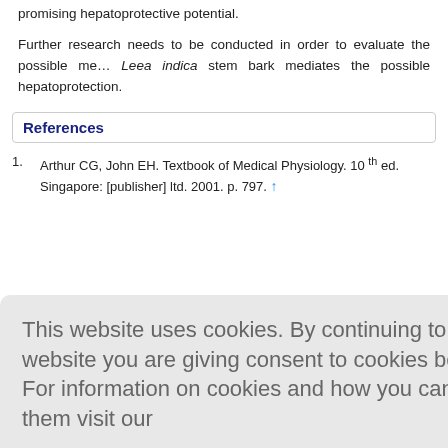promising hepatoprotective potential.
Further research needs to be conducted in order to evaluate the possible mechanisms by which Leea indica stem bark mediates the possible hepatoprotection.
References
1. Arthur CG, John EH. Textbook of Medical Physiology. 10th ed. Singapore: [publisher] ltd. 2001. p. 797. ↑
This website uses cookies. By continuing to use this website you are giving consent to cookies being used. For information on cookies and how you can disable them visit our Privacy and Cookie Policy.
AGREE & PROCEED